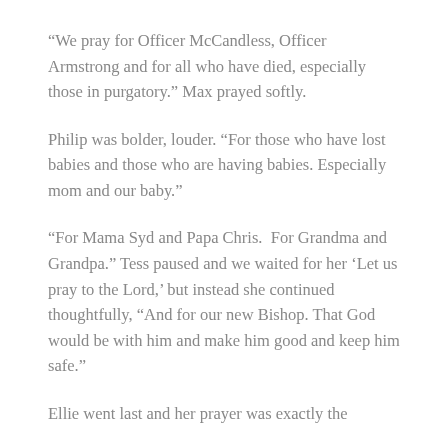“We pray for Officer McCandless, Officer Armstrong and for all who have died, especially those in purgatory.” Max prayed softly.
Philip was bolder, louder. “For those who have lost babies and those who are having babies. Especially mom and our baby.”
“For Mama Syd and Papa Chris.  For Grandma and Grandpa.” Tess paused and we waited for her ‘Let us pray to the Lord,’ but instead she continued thoughtfully, “And for our new Bishop. That God would be with him and make him good and keep him safe.”
Ellie went last and her prayer was exactly the